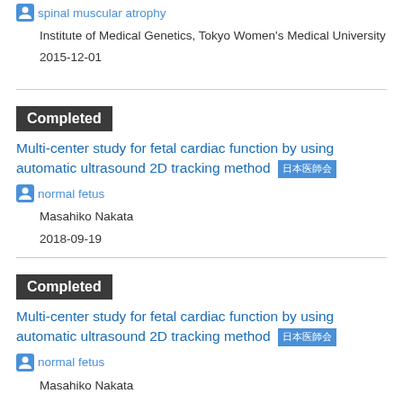spinal muscular atrophy
Institute of Medical Genetics, Tokyo Women's Medical University
2015-12-01
Completed
Multi-center study for fetal cardiac function by using automatic ultrasound 2D tracking method 日本医師会
normal fetus
Masahiko Nakata
2018-09-19
Completed
Multi-center study for fetal cardiac function by using automatic ultrasound 2D tracking method 日本医師会
normal fetus
Masahiko Nakata